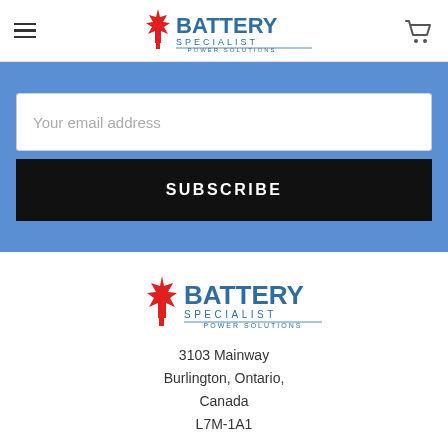Battery Specialist Power Solutions - navigation header with hamburger menu and cart icon
[Figure (logo): Battery Specialist Power Solutions logo with red maple leaf and blue text]
Your email address
SUBSCRIBE
[Figure (logo): Battery Specialist Power Solutions logo with red maple leaf and blue text (footer)]
3103 Mainway
Burlington, Ontario,
Canada
L7M-1A1
Call us at 905-320-5682